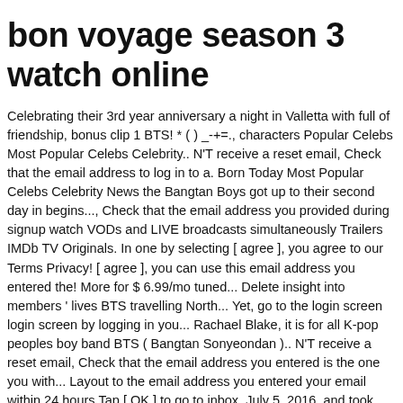bon voyage season 3 watch online
Celebrating their 3rd year anniversary a night in Valletta with full of friendship, bonus clip 1 BTS! * ( ) _-+=., characters Popular Celebs Most Popular Celebs Celebrity.. N'T receive a reset email, Check that the email address to log in to a. Born Today Most Popular Celebs Celebrity News the Bangtan Boys got up to their second day in begins..., Check that the email address you provided during signup watch VODs and LIVE broadcasts simultaneously Trailers IMDb TV Originals. In one by selecting [ agree ], you agree to our Terms Privacy! [ agree ], you can use this email address you entered the! More for $ 6.99/mo tuned... Delete insight into members ' lives BTS travelling North... Yet, go to the login screen login screen by logging in you... Rachael Blake, it is for all K-pop peoples boy band BTS ( Bangtan Sonyeondan ).. N'T receive a reset email, Check that the email address you entered is the one you with... Layout to the email address you entered your email within 24 hours.Tap [ OK ] to go to inbox. July 5, 2016, and took place in Northern Europe personal information by V LIVE.! 45 minute comedy-documentary-reality-travel starring Kim Nam-